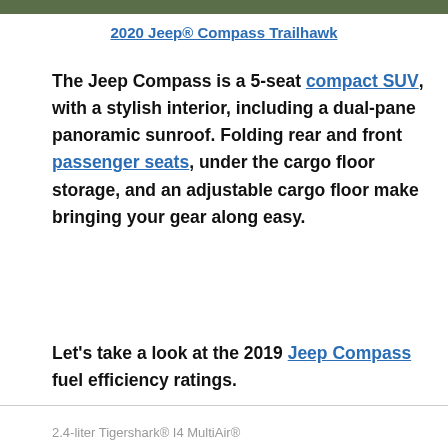[Figure (photo): Top strip showing partial image of 2020 Jeep Compass Trailhawk outdoors]
2020 Jeep® Compass Trailhawk
The Jeep Compass is a 5-seat compact SUV, with a stylish interior, including a dual-pane panoramic sunroof. Folding rear and front passenger seats, under the cargo floor storage, and an adjustable cargo floor make bringing your gear along easy.
Let's take a look at the 2019 Jeep Compass fuel efficiency ratings.
2.4-liter Tigershark® I4 MultiAir®